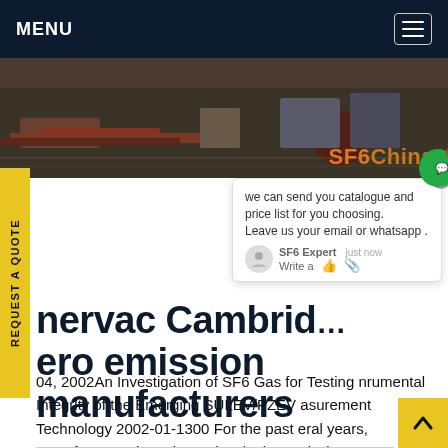MENU
[Figure (photo): Industrial equipment photo showing pipes and machinery with SF6China watermark overlay]
SF6China
REQUEST A QUOTE
we can send you catalogue and price list for you choosing. Leave us your email or whatsapp .
SF6 Expert   just now
Write a
nervac Cambridge zero emission manufacturers
04, 2002An Investigation of SF6 Gas for Testing nrumental Integrity of the Emerging SULEV/PZEV asurement Technology 2002-01-1300 For the past eral years, manufacturers have been developing emission measurement systems for Super Ultra Emission (SULEV) measurements.Get price